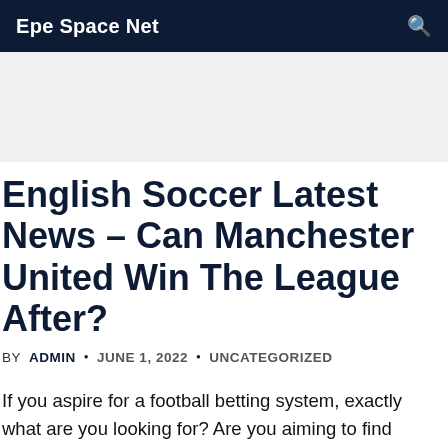Epe Space Net
English Soccer Latest News – Can Manchester United Win The League After?
BY ADMIN • JUNE 1, 2022 • UNCATEGORIZED
If you aspire for a football betting system, exactly what are you looking for? Are you aiming to find inexpensive football betting systems which allow you consider small amounts cash and to